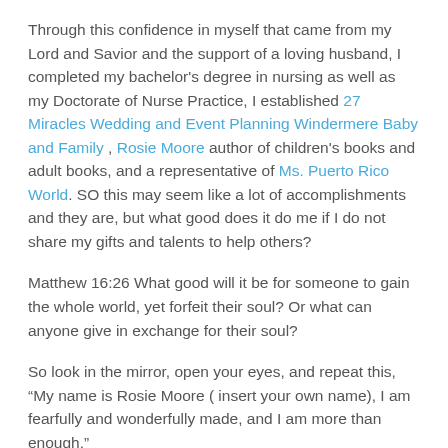Through this confidence in myself that came from my Lord and Savior and the support of a loving husband, I completed my bachelor's degree in nursing as well as my Doctorate of Nurse Practice, I established 27 Miracles Wedding and Event Planning Windermere Baby and Family , Rosie Moore author of children's books and adult books, and a representative of Ms. Puerto Rico World. SO this may seem like a lot of accomplishments and they are, but what good does it do me if I do not share my gifts and talents to help others?
Matthew 16:26 What good will it be for someone to gain the whole world, yet forfeit their soul? Or what can anyone give in exchange for their soul?
So look in the mirror, open your eyes, and repeat this, “My name is Rosie Moore ( insert your own name), I am fearfully and wonderfully made, and I am more than enough.”